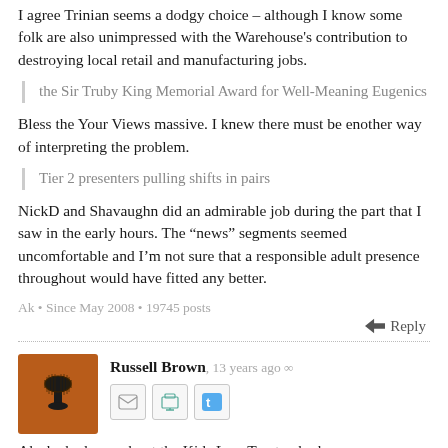I agree Trinian seems a dodgy choice – although I know some folk are also unimpressed with the Warehouse's contribution to destroying local retail and manufacturing jobs.
the Sir Truby King Memorial Award for Well-Meaning Eugenics
Bless the Your Views massive. I knew there must be enother way of interpreting the problem.
Tier 2 presenters pulling shifts in pairs
NickD and Shavaughn did an admirable job during the part that I saw in the early hours. The "news" segments seemed uncomfortable and I'm not sure that a responsible adult presence throughout would have fitted any better.
Ak • Since May 2008 • 19745 posts
Reply
Russell Brown, 13 years ago
[Figure (photo): Avatar image of Russell Brown: orange/brown background with a microphone silhouette icon]
Ak she had a go about the Kids Law Trust, who have